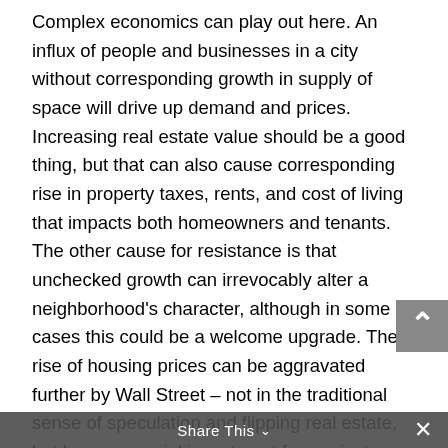Complex economics can play out here. An influx of people and businesses in a city without corresponding growth in supply of space will drive up demand and prices. Increasing real estate value should be a good thing, but that can also cause corresponding rise in property taxes, rents, and cost of living that impacts both homeowners and tenants. The other cause for resistance is that unchecked growth can irrevocably alter a neighborhood's character, although in some cases this could be a welcome upgrade. The rise of housing prices can be aggravated further by Wall Street – not in the traditional sense of speculation and flipping real estate, but by commercial investment from private equity and real estate investment firms looking for long term returns from renting out homes, as billions of dollars have flowed to purchasing blocks of home inventories in the New York area.